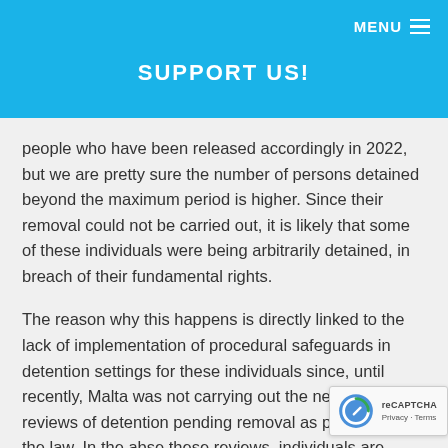MENU
SUPPORT US!
people who have been released accordingly in 2022, but we are pretty sure the number of persons detained beyond the maximum period is higher. Since their removal could not be carried out, it is likely that some of these individuals were being arbitrarily detained, in breach of their fundamental rights.
The reason why this happens is directly linked to the lack of implementation of procedural safeguards in detention settings for these individuals since, until recently, Malta was not carrying out the necessary reviews of detention pending removal as provided in the law. In the abse these reviews, individuals are inevitably at risk of being